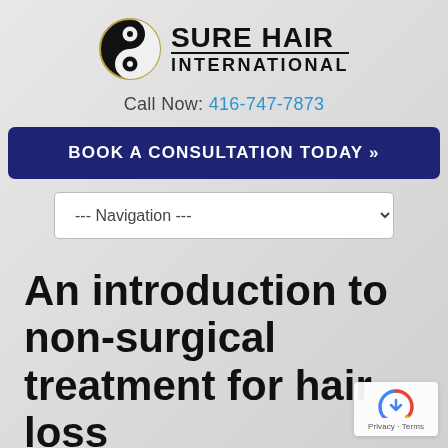[Figure (logo): Sure Hair International logo with yin-yang style circular icon and bold brand text]
Call Now: 416-747-7873
BOOK A CONSULTATION TODAY »
--- Navigation ---
An introduction to non-surgical treatment for hair loss